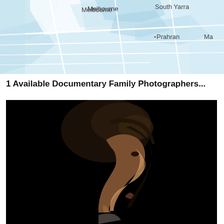[Figure (map): Street map showing Melbourne, South Yarra, Prahran and surrounding suburbs with roads and district outlines on a light blue background]
1 Available Documentary Family Photographers...
[Figure (photo): Dark portrait photograph showing the side profile of a woman with dark hair against a black background, lit from the right side]